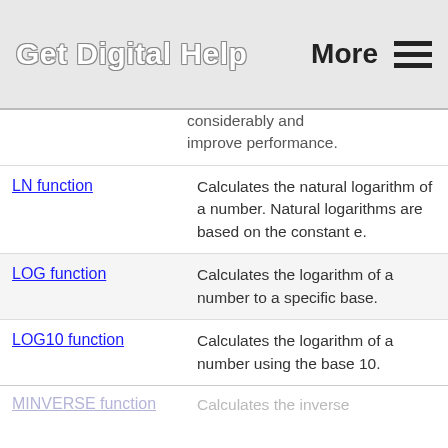Get Digital Help   More ☰
considerably and improve performance.
LN function — Calculates the natural logarithm of a number. Natural logarithms are based on the constant e.
LOG function — Calculates the logarithm of a number to a specific base.
LOG10 function — Calculates the logarithm of a number using the base 10.
MINVERSE function — Calculates the inverse